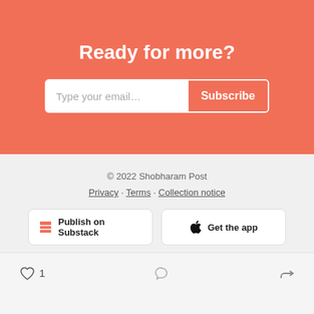Ready for more?
Type your email... Subscribe
© 2022 Shobharam Post
Privacy · Terms · Collection notice
Publish on Substack  Get the app
1